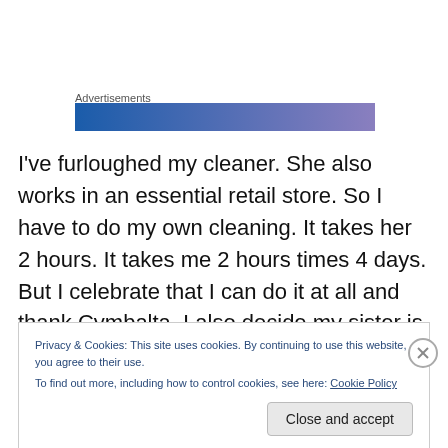Advertisements
[Figure (other): Blue to purple gradient advertisement banner]
I've furloughed my cleaner. She also works in an essential retail store. So I have to do my own cleaning. It takes her 2 hours. It takes me 2 hours times 4 days. But I celebrate that I can do it at all and thank Cymbalta. I also decide my sister is right – an ironed pillow case is divine. The next thing I know I am ironing sheets and shirts and masks.
Privacy & Cookies: This site uses cookies. By continuing to use this website, you agree to their use.
To find out more, including how to control cookies, see here: Cookie Policy
Close and accept